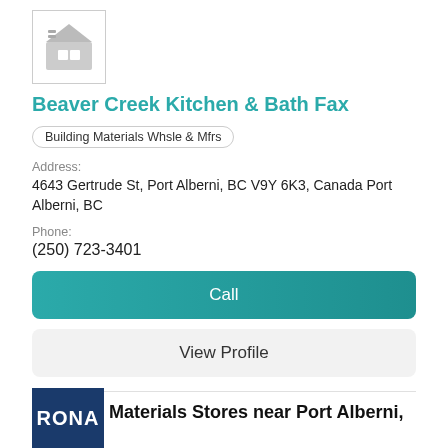[Figure (illustration): Generic building/store icon in gray]
Beaver Creek Kitchen & Bath Fax
Building Materials Whsle & Mfrs
Address:
4643 Gertrude St, Port Alberni, BC V9Y 6K3, Canada Port Alberni, BC
Phone:
(250) 723-3401
Call
View Profile
Building Materials Stores near Port Alberni, BC
[Figure (logo): RONA store logo — dark blue background with white RONA text]